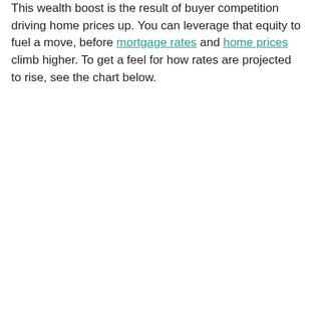This wealth boost is the result of buyer competition driving home prices up. You can leverage that equity to fuel a move, before mortgage rates and home prices climb higher. To get a feel for how rates are projected to rise, see the chart below.